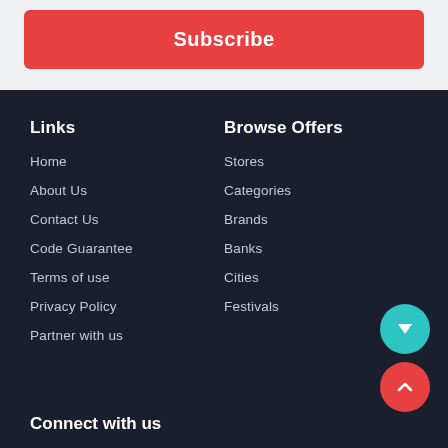Subscribe
Links
Home
About Us
Contact Us
Code Guarantee
Terms of use
Privacy Policy
Partner with us
Browse Offers
Stores
Categories
Brands
Banks
Cities
Festivals
Connect with us